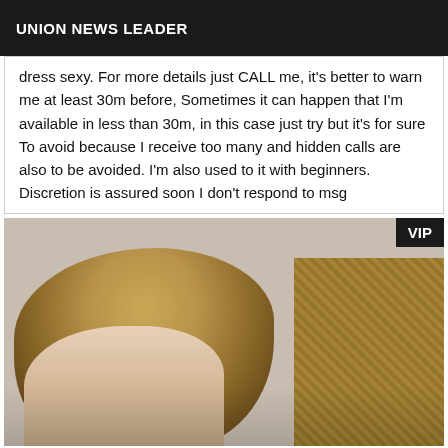UNION NEWS LEADER
dress sexy. For more details just CALL me, it's better to warn me at least 30m before, Sometimes it can happen that I'm available in less than 30m, in this case just try but it's for sure To avoid because I receive too many and hidden calls are also to be avoided. I'm also used to it with beginners. Discretion is assured soon I don't respond to msg
[Figure (photo): Photo of a blonde woman leaning forward, with a wicker chair/furniture visible in the background. A VIP badge is shown in the top-right corner.]